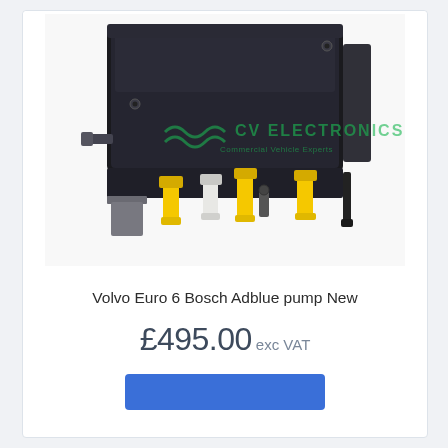[Figure (photo): A Volvo Euro 6 Bosch Adblue pump photographed on a white background. The pump is a black rectangular unit with yellow and white connectors/fittings protruding from the bottom. A green watermark reading 'CV ELECTRONICS' is overlaid on the image.]
Volvo Euro 6 Bosch Adblue pump New
£495.00 exc VAT